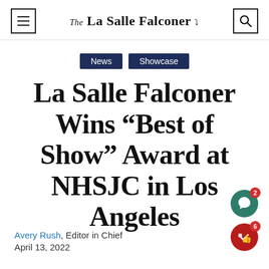The La Salle Falconer
News  Showcase
La Salle Falconer Wins “Best of Show” Award at NHSJC in Los Angeles
Avery Rush, Editor in Chief
April 13, 2022